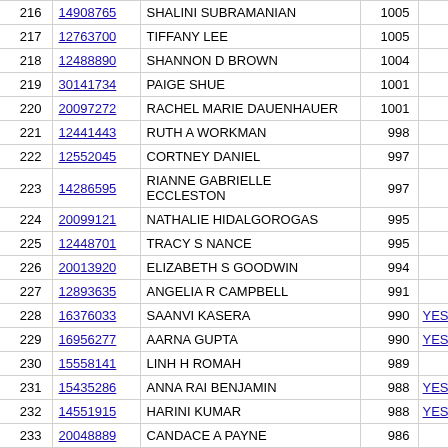| # | ID | Name | Score |  |
| --- | --- | --- | --- | --- |
| 216 | 14908765 | SHALINI SUBRAMANIAN | 1005 |  |
| 217 | 12763700 | TIFFANY LEE | 1005 |  |
| 218 | 12488890 | SHANNON D BROWN | 1004 |  |
| 219 | 30141734 | PAIGE SHUE | 1001 |  |
| 220 | 20097272 | RACHEL MARIE DAUENHAUER | 1001 |  |
| 221 | 12441443 | RUTH A WORKMAN | 998 |  |
| 222 | 12552045 | CORTNEY DANIEL | 997 |  |
| 223 | 14286595 | RIANNE GABRIELLE ECCLESTON | 997 |  |
| 224 | 20099121 | NATHALIE HIDALGOROGAS | 995 |  |
| 225 | 12448701 | TRACY S NANCE | 995 |  |
| 226 | 20013920 | ELIZABETH S GOODWIN | 994 |  |
| 227 | 12893635 | ANGELIA R CAMPBELL | 991 |  |
| 228 | 16376033 | SAANVI KASERA | 990 | YES |
| 229 | 16956277 | AARNA GUPTA | 990 | YES |
| 230 | 15558141 | LINH H ROMAH | 989 |  |
| 231 | 15435286 | ANNA RAI BENJAMIN | 988 | YES |
| 232 | 14551915 | HARINI KUMAR | 988 | YES |
| 233 | 20048889 | CANDACE A PAYNE | 986 |  |